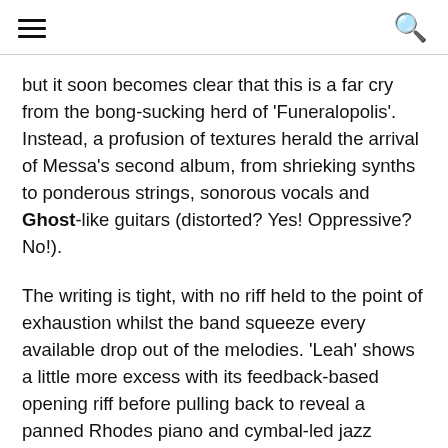[hamburger menu] [search icon]
but it soon becomes clear that this is a far cry from the bong-sucking herd of 'Funeralopolis'. Instead, a profusion of textures herald the arrival of Messa's second album, from shrieking synths to ponderous strings, sonorous vocals and Ghost-like guitars (distorted? Yes! Oppressive? No!).
The writing is tight, with no riff held to the point of exhaustion whilst the band squeeze every available drop out of the melodies. 'Leah' shows a little more excess with its feedback-based opening riff before pulling back to reveal a panned Rhodes piano and cymbal-led jazz drums, with a choppy guitar solo to match. Comparisons have already been drawn to Windhand and Bohren & Der Club Of Gore, but it's equally reminiscent of The Dead